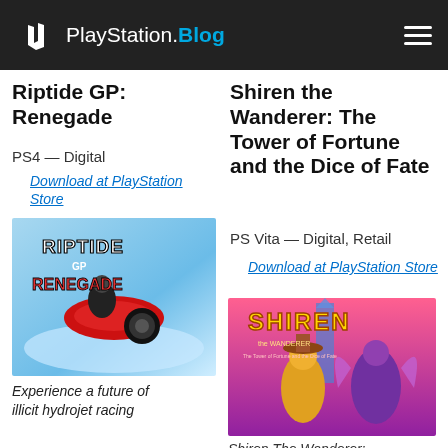PlayStation.Blog
Riptide GP: Renegade
PS4 — Digital
Download at PlayStation Store
[Figure (photo): Riptide GP: Renegade game cover art showing a futuristic red waterjet vehicle]
Experience a future of illicit hydrojet racing
Shiren the Wanderer: The Tower of Fortune and the Dice of Fate
PS Vita — Digital, Retail
Download at PlayStation Store
[Figure (photo): Shiren the Wanderer game cover art with anime-style characters]
Shiren The Wanderer: